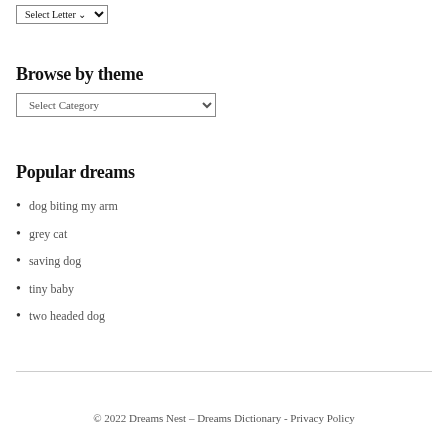[Figure (screenshot): Select Letter dropdown control at top of page]
Browse by theme
[Figure (screenshot): Select Category dropdown control]
Popular dreams
dog biting my arm
grey cat
saving dog
tiny baby
two headed dog
© 2022 Dreams Nest – Dreams Dictionary - Privacy Policy